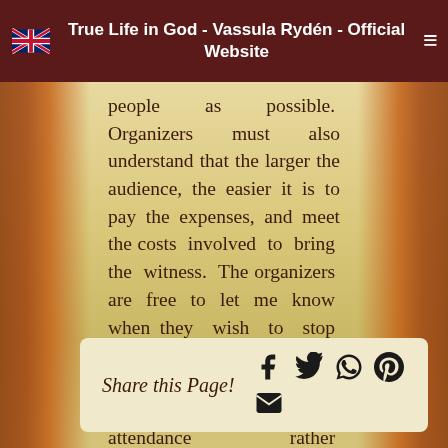True Life in God - Vassula Rydén - Official Website
people as possible. Organizers must also understand that the larger the audience, the easier it is to pay the expenses, and meet the costs involved to bring the witness. The organizers are free to let me know when they wish to stop being organizers. So far, the witnessing has been excellent and the attendance rather satisfactory. So I thank the Lord for all that He is doing.
Share this Page!